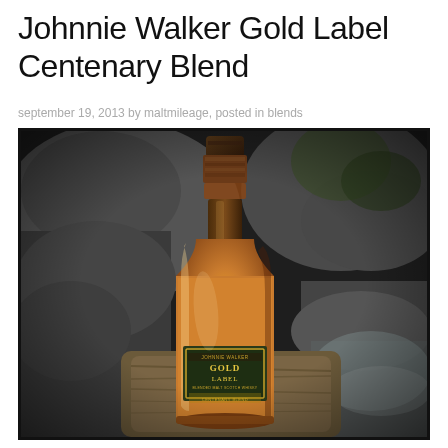Johnnie Walker Gold Label Centenary Blend
september 19, 2013 by maltmileage, posted in blends
[Figure (photo): A bottle of Johnnie Walker Gold Label whisky with amber liquid, photographed outdoors against a rocky, natural background in a desaturated/grayscale tone with the bottle in color.]